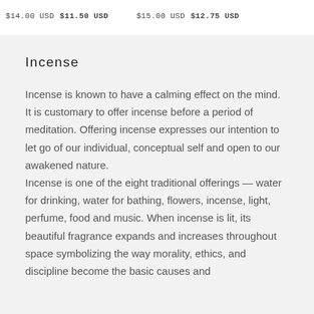$14.00 USD  $11.50 USD        $15.00 USD  $12.75 USD
Incense
Incense is known to have a calming effect on the mind. It is customary to offer incense before a period of meditation. Offering incense expresses our intention to let go of our individual, conceptual self and open to our awakened nature. Incense is one of the eight traditional offerings — water for drinking, water for bathing, flowers, incense, light, perfume, food and music. When incense is lit, its beautiful fragrance expands and increases throughout space symbolizing the way morality, ethics, and discipline become the basic causes and